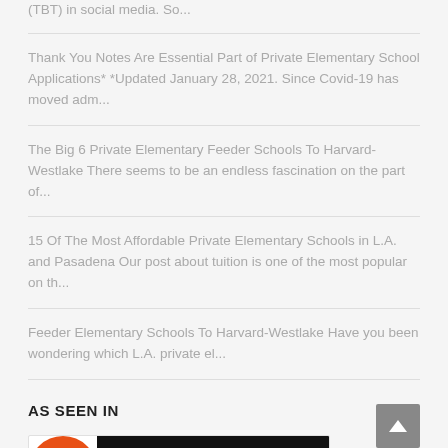(TBT) in social media. So...
Thank You Notes Are Essential Part of Private Elementary School Applications* *Updated January 28, 2021. Since Covid-19 has moved adm...
The Big 6 Private Elementary Feeder Schools To Harvard- Westlake There seems to be an endless fascination on the part of...
15 Of The Most Affordable Private Elementary Schools in L.A. and Pasadena Our post about tuition is one of the most popular on th...
Feeder Elementary Schools To Harvard-Westlake Have you been wondering which L.A. private el...
AS SEEN IN
[Figure (logo): Ars Technica logo — orange circle with 'ars' text on black background with 'TECHNICA' in white]